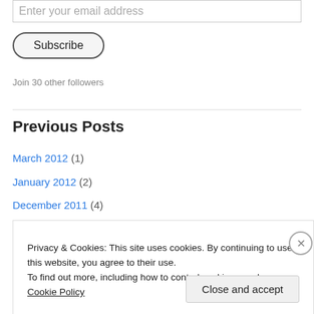Enter your email address
Subscribe
Join 30 other followers
Previous Posts
March 2012 (1)
January 2012 (2)
December 2011 (4)
November 2011 (2)
October 2011 (4)
Privacy & Cookies: This site uses cookies. By continuing to use this website, you agree to their use.
To find out more, including how to control cookies, see here: Cookie Policy
Close and accept